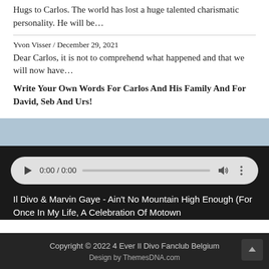Hugs to Carlos. The world has lost a huge talented charismatic personality. He will be...
Yvon Visser / December 29, 2021
Dear Carlos, it is not to comprehend what happened and that we will now have...
Write Your Own Words For Carlos And His Family And For David, Seb And Urs!
[Figure (screenshot): HTML5 audio player widget showing 0:00 / 0:00 with play button, progress bar, volume and more icons on a light gray rounded background]
Il Divo & Marvin Gaye - Ain't No Mountain High Enough (For Once In My Life, A Celebration Of Motown
Copyright © 2022 4 Ever Il Divo Fanclub Belgium
Design by ThemesDNA.com